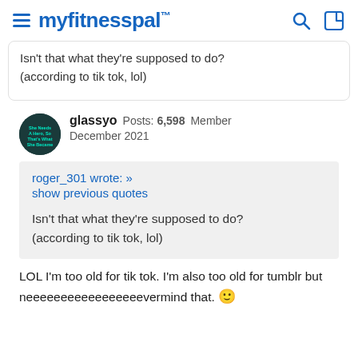myfitnesspal
Isn't that what they're supposed to do? (according to tik tok, lol)
glassyo Posts: 6,598 Member December 2021
roger_301 wrote: » show previous quotes Isn't that what they're supposed to do? (according to tik tok, lol)
LOL I'm too old for tik tok. I'm also too old for tumblr but neeeeeeeeeeeeeeeeevermind that. 🙂